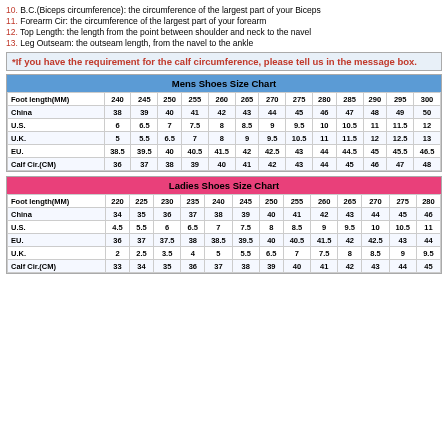10. B.C.(Biceps circumference): the circumference of the largest part of your Biceps
11. Forearm Cir: the circumference of the largest part of your forearm
12. Top Length: the length from the point between shoulder and neck to the navel
13. Leg Outseam: the outseam length, from the navel to the ankle
*If you have the requirement for the calf circumference, please tell us in the message box.
| Foot length(MM) | 240 | 245 | 250 | 255 | 260 | 265 | 270 | 275 | 280 | 285 | 290 | 295 | 300 |
| --- | --- | --- | --- | --- | --- | --- | --- | --- | --- | --- | --- | --- | --- |
| China | 38 | 39 | 40 | 41 | 42 | 43 | 44 | 45 | 46 | 47 | 48 | 49 | 50 |
| U.S. | 6 | 6.5 | 7 | 7.5 | 8 | 8.5 | 9 | 9.5 | 10 | 10.5 | 11 | 11.5 | 12 |
| U.K. | 5 | 5.5 | 6.5 | 7 | 8 | 9 | 9.5 | 10.5 | 11 | 11.5 | 12 | 12.5 | 13 |
| EU. | 38.5 | 39.5 | 40 | 40.5 | 41.5 | 42 | 42.5 | 43 | 44 | 44.5 | 45 | 45.5 | 46.5 |
| Calf Cir.(CM) | 36 | 37 | 38 | 39 | 40 | 41 | 42 | 43 | 44 | 45 | 46 | 47 | 48 |
| Foot length(MM) | 220 | 225 | 230 | 235 | 240 | 245 | 250 | 255 | 260 | 265 | 270 | 275 | 280 |
| --- | --- | --- | --- | --- | --- | --- | --- | --- | --- | --- | --- | --- | --- |
| China | 34 | 35 | 36 | 37 | 38 | 39 | 40 | 41 | 42 | 43 | 44 | 45 | 46 |
| U.S. | 4.5 | 5.5 | 6 | 6.5 | 7 | 7.5 | 8 | 8.5 | 9 | 9.5 | 10 | 10.5 | 11 |
| EU. | 36 | 37 | 37.5 | 38 | 38.5 | 39.5 | 40 | 40.5 | 41.5 | 42 | 42.5 | 43 | 44 |
| U.K. | 2 | 2.5 | 3.5 | 4 | 5 | 5.5 | 6.5 | 7 | 7.5 | 8 | 8.5 | 9 | 9.5 |
| Calf Cir.(CM) | 33 | 34 | 35 | 36 | 37 | 38 | 39 | 40 | 41 | 42 | 43 | 44 | 45 |